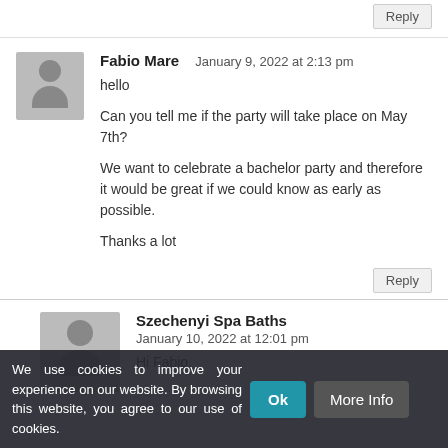Should you have further questions, please contact us.
Reply
Fabio Mare — January 9, 2022 at 2:13 pm
hello

Can you tell me if the party will take place on May 7th?

We want to celebrate a bachelor party and therefore it would be great if we could know as early as possible.

Thanks a lot
Reply
Szechenyi Spa Baths — January 10, 2022 at 12:01 pm
Hi Fabio,
We use cookies to improve your experience on our website. By browsing this website, you agree to our use of cookies.
Ok
More Info